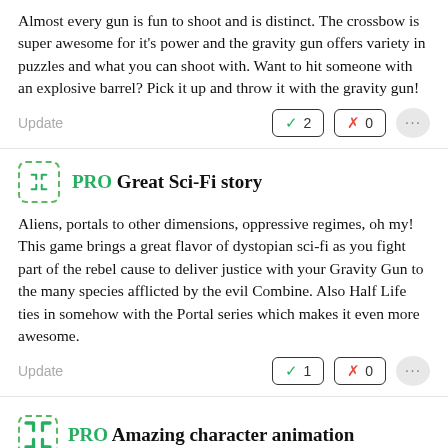Almost every gun is fun to shoot and is distinct. The crossbow is super awesome for it's power and the gravity gun offers variety in puzzles and what you can shoot with. Want to hit someone with an explosive barrel? Pick it up and throw it with the gravity gun!
Update  ✓2  ✗0  ...
PRO Great Sci-Fi story
Aliens, portals to other dimensions, oppressive regimes, oh my! This game brings a great flavor of dystopian sci-fi as you fight part of the rebel cause to deliver justice with your Gravity Gun to the many species afflicted by the evil Combine. Also Half Life ties in somehow with the Portal series which makes it even more awesome.
Update  ✓1  ✗0  ...
PRO Amazing character animation